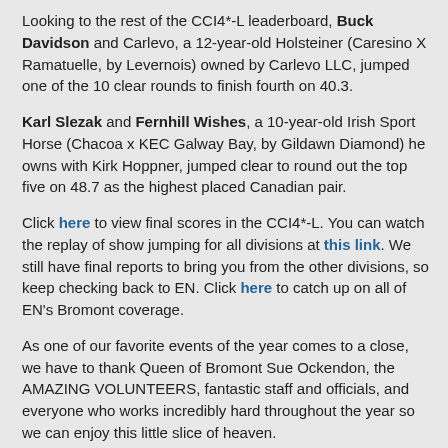Looking to the rest of the CCI4*-L leaderboard, Buck Davidson and Carlevo, a 12-year-old Holsteiner (Caresino X Ramatuelle, by Levernois) owned by Carlevo LLC, jumped one of the 10 clear rounds to finish fourth on 40.3.
Karl Slezak and Fernhill Wishes, a 10-year-old Irish Sport Horse (Chacoa x KEC Galway Bay, by Gildawn Diamond) he owns with Kirk Hoppner, jumped clear to round out the top five on 48.7 as the highest placed Canadian pair.
Click here to view final scores in the CCI4*-L. You can watch the replay of show jumping for all divisions at this link. We still have final reports to bring you from the other divisions, so keep checking back to EN. Click here to catch up on all of EN's Bromont coverage.
As one of our favorite events of the year comes to a close, we have to thank Queen of Bromont Sue Ockendon, the AMAZING VOLUNTEERS, fantastic staff and officials, and everyone who works incredibly hard throughout the year so we can enjoy this little slice of heaven.